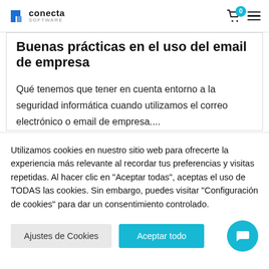conecta SOFTWARE — cart 0 — menu
Buenas prácticas en el uso del email de empresa
Qué tenemos que tener en cuenta entorno a la seguridad informática cuando utilizamos el correo electrónico o email de empresa....
Utilizamos cookies en nuestro sitio web para ofrecerte la experiencia más relevante al recordar tus preferencias y visitas repetidas. Al hacer clic en "Aceptar todas", aceptas el uso de TODAS las cookies. Sin embargo, puedes visitar "Configuración de cookies" para dar un consentimiento controlado.